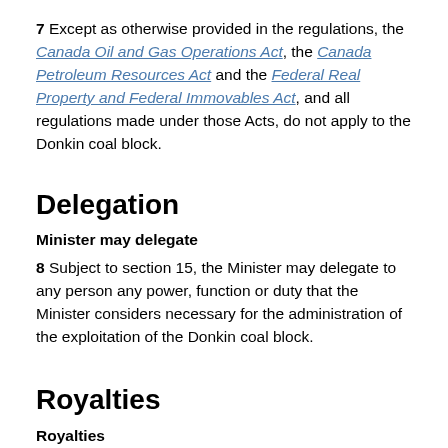7 Except as otherwise provided in the regulations, the Canada Oil and Gas Operations Act, the Canada Petroleum Resources Act and the Federal Real Property and Federal Immovables Act, and all regulations made under those Acts, do not apply to the Donkin coal block.
Delegation
Minister may delegate
8 Subject to section 15, the Minister may delegate to any person any power, function or duty that the Minister considers necessary for the administration of the exploitation of the Donkin coal block.
Royalties
Royalties